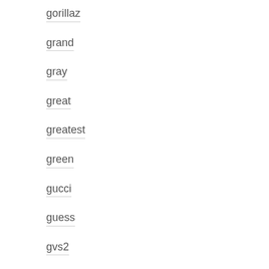gorillaz
grand
gray
great
greatest
green
gucci
guess
gvs2
half
hand
handmade
hard
harry